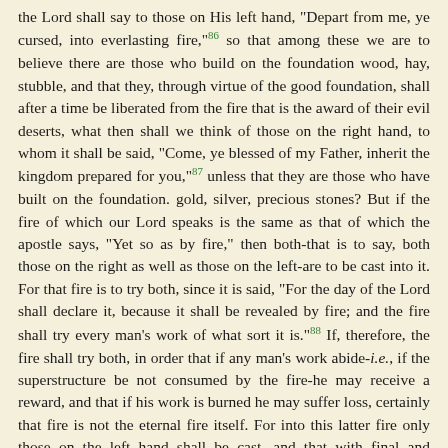the Lord shall say to those on His left hand, "Depart from me, ye cursed, into everlasting fire,"[86] so that among these we are to believe there are those who build on the foundation wood, hay, stubble, and that they, through virtue of the good foundation, shall after a time be liberated from the fire that is the award of their evil deserts, what then shall we think of those on the right hand, to whom it shall be said, "Come, ye blessed of my Father, inherit the kingdom prepared for you,"[87] unless that they are those who have built on the foundation. gold, silver, precious stones? But if the fire of which our Lord speaks is the same as that of which the apostle says, "Yet so as by fire," then both-that is to say, both those on the right as well as those on the left-are to be cast into it. For that fire is to try both, since it is said, "For the day of the Lord shall declare it, because it shall be revealed by fire; and the fire shall try every man's work of what sort it is."[88] If, therefore, the fire shall try both, in order that if any man's work abide-i.e., if the superstructure be not consumed by the fire-he may receive a reward, and that if his work is burned he may suffer loss, certainly that fire is not the eternal fire itself. For into this latter fire only those on the left hand shall be cast, and that with final and everlasting doom; but that former fire proves those on the right hand. But some of them it so proves that it does not burn and consume the structure which is found to have been built by them on Christ as the foundation; while others of them it proves in another fashion, so as to burn what they have built up, and thus cause them to suffer loss, while